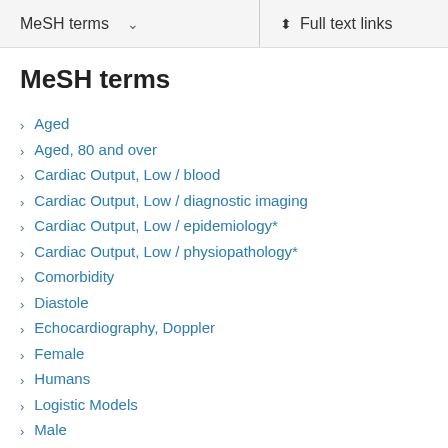MeSH terms   ∨   Full text links
MeSH terms
Aged
Aged, 80 and over
Cardiac Output, Low / blood
Cardiac Output, Low / diagnostic imaging
Cardiac Output, Low / epidemiology*
Cardiac Output, Low / physiopathology*
Comorbidity
Diastole
Echocardiography, Doppler
Female
Humans
Logistic Models
Male
Middle Aged